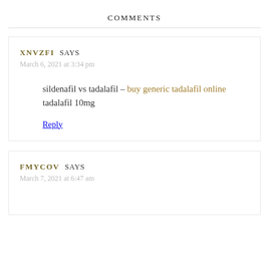COMMENTS
XNVZFI SAYS
March 6, 2021 at 3:34 pm
sildenafil vs tadalafil – buy generic tadalafil online tadalafil 10mg
Reply
FMYCOV SAYS
March 7, 2021 at 6:47 am